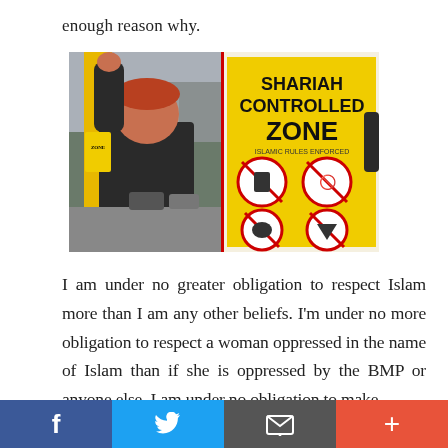enough reason why.
[Figure (photo): A person with red hair wearing a dark hoodie affixing a yellow sticker to a pole on the left; on the right, a yellow sign reading 'SHARIAH CONTROLLED ZONE' with red prohibition symbols.]
I am under no greater obligation to respect Islam more than I am any other beliefs. I'm under no more obligation to respect a woman oppressed in the name of Islam than if she is oppressed by the BMP or anyone else. I am under no obligation to make
f  [Twitter bird]  [envelope]  +